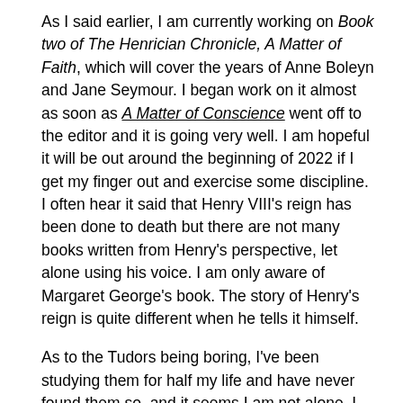As I said earlier, I am currently working on Book two of The Henrician Chronicle, A Matter of Faith, which will cover the years of Anne Boleyn and Jane Seymour. I began work on it almost as soon as A Matter of Conscience went off to the editor and it is going very well. I am hopeful it will be out around the beginning of 2022 if I get my finger out and exercise some discipline. I often hear it said that Henry VIII's reign has been done to death but there are not many books written from Henry's perspective, let alone using his voice. I am only aware of Margaret George's book. The story of Henry's reign is quite different when he tells it himself.
As to the Tudors being boring, I've been studying them for half my life and have never found them so, and it seems I am not alone. I gain new readers every day. There is always a fresh generation coming along to whom the Tudor era is fresh and exciting. The era offers something additional discov...